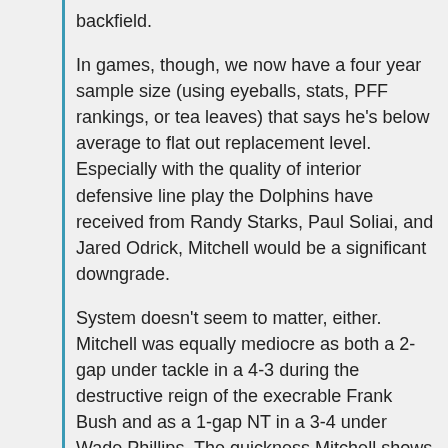backfield.
In games, though, we now have a four year sample size (using eyeballs, stats, PFF rankings, or tea leaves) that says he's below average to flat out replacement level. Especially with the quality of interior defensive line play the Dolphins have received from Randy Starks, Paul Soliai, and Jared Odrick, Mitchell would be a significant downgrade.
System doesn't seem to matter, either. Mitchell was equally mediocre as both a 2-gap under tackle in a 4-3 during the destructive reign of the execrable Frank Bush and as a 1-gap NT in a 3-4 under Wade Phillips. The quickness Mitchell shows in practice has never made it into games, and he doesn't have a ton of power at the point of attack.